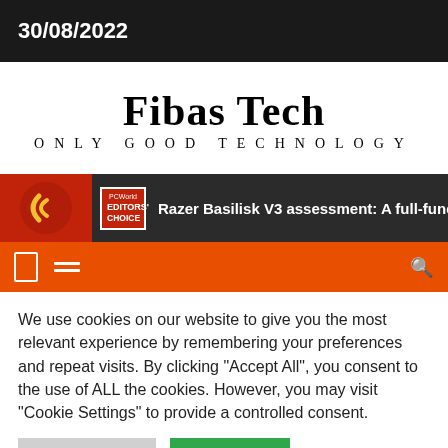30/08/2022
Fibas Tech
ONLY GOOD TECHNOLOGY
[Figure (screenshot): Dark banner with red PCWorld Editors' Choice badge and text: Razer Basilisk V3 assessment: A full-functior]
[Figure (screenshot): Orange navigation bar with bracket icon, hamburger menu icon, and search icon]
We use cookies on our website to give you the most relevant experience by remembering your preferences and repeat visits. By clicking "Accept All", you consent to the use of ALL the cookies. However, you may visit "Cookie Settings" to provide a controlled consent.
[Figure (screenshot): Two buttons partially visible at bottom: grey Cookie Settings button and green Accept All button]